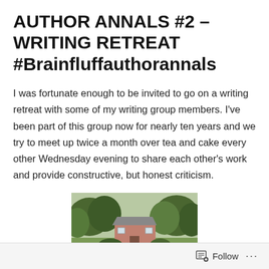AUTHOR ANNALS #2 – WRITING RETREAT #Brainfluffauthorannals
I was fortunate enough to be invited to go on a writing retreat with some of my writing group members. I've been part of this group now for nearly ten years and we try to meet up twice a month over tea and cake every other Wednesday evening to share each other's work and provide constructive, but honest criticism.
[Figure (photo): A photograph of a small stone cottage or rural building surrounded by trees and greenery, partially cropped at the bottom.]
Follow ···